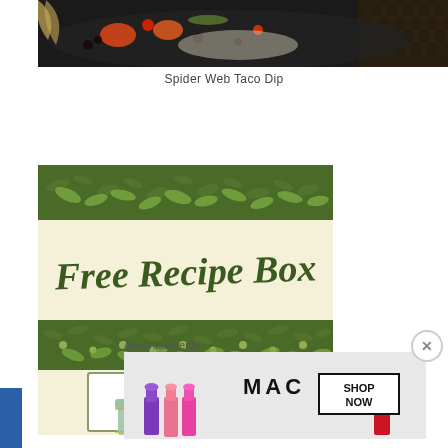[Figure (photo): Top portion of a food photo showing Spider Web Taco Dip with colorful toppings on a dark plate]
Spider Web Taco Dip
[Figure (illustration): Free Recipe Box promotional graphic with floral/botanical borders on a cream background, text 'Free Recipe Box' in green script, and an inner box saying 'To save your favorite recipes:' with a decorative floral tin box]
Advertisements
[Figure (screenshot): MAC cosmetics advertisement showing lipsticks in purple, pink, and red with MAC logo and 'SHOP NOW' button]